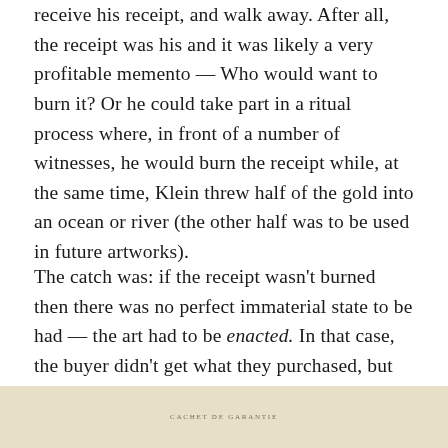receive his receipt, and walk away. After all, the receipt was his and it was likely a very profitable memento — Who would want to burn it? Or he could take part in a ritual process where, in front of a number of witnesses, he would burn the receipt while, at the same time, Klein threw half of the gold into an ocean or river (the other half was to be used in future artworks).
The catch was: if the receipt wasn't burned then there was no perfect immaterial state to be had — the art had to be enacted. In that case, the buyer didn't get what they purchased, but just the receipt for it. It's one of those receipts that sold last month for $1.2m.
[Figure (other): Beige/tan colored strip at bottom of page with small text reading 'CACHET DE GARANTIE' in spaced uppercase letters]